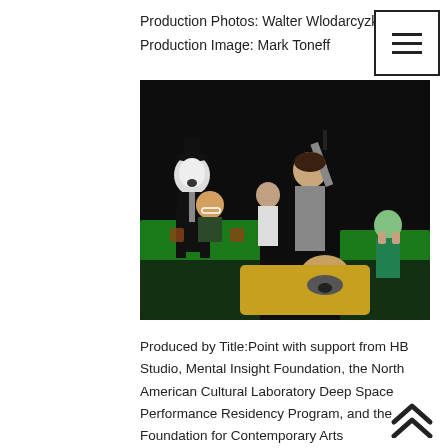Production Photos: Walter Wlodarcyzk
Production Image: Mark Toneff
[Figure (photo): Theatre production photo showing several performers on a dark stage. One actor in mime costume with white face paint and black hat stands at left. A woman in a grey shirt holds something aloft in the center. A man in yellow lies on the floor in foreground. Two other actors at a green-covered table in background.]
Produced by Title:Point with support from HB Studio, Mental Insight Foundation, the North American Cultural Laboratory Deep Space Performance Residency Program, and the Foundation for Contemporary Arts Emergency Grant.